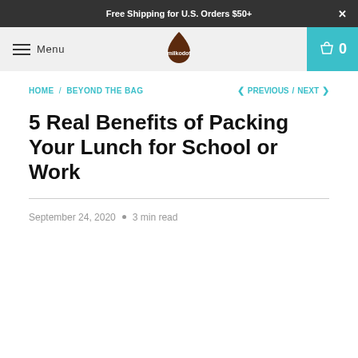Free Shipping for U.S. Orders $50+
Menu  [logo]  0
HOME / BEYOND THE BAG   < PREVIOUS / NEXT >
5 Real Benefits of Packing Your Lunch for School or Work
September 24, 2020  •  3 min read